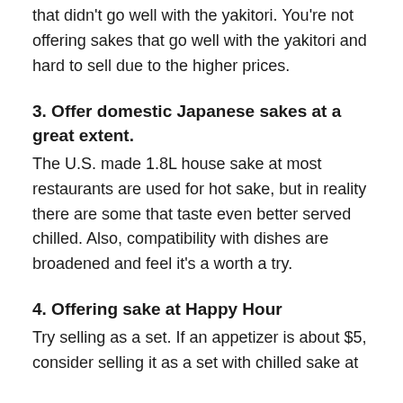that didn't go well with the yakitori. You're not offering sakes that go well with the yakitori and hard to sell due to the higher prices.
3. Offer domestic Japanese sakes at a great extent.
The U.S. made 1.8L house sake at most restaurants are used for hot sake, but in reality there are some that taste even better served chilled. Also, compatibility with dishes are broadened and feel it's a worth a try.
4. Offering sake at Happy Hour
Try selling as a set. If an appetizer is about $5, consider selling it as a set with chilled sake at